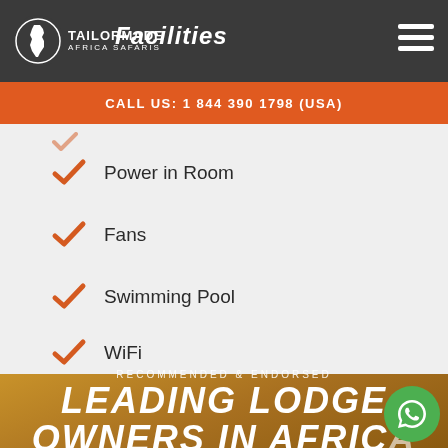TAILORMADE AFRICA SAFARIS — Facilities
CALL US: 1 844 390 1798 (USA)
Power in Room
Fans
Swimming Pool
WiFi
RECOMMENDED & ENDORSED
LEADING LODGE OWNERS IN AFRICA